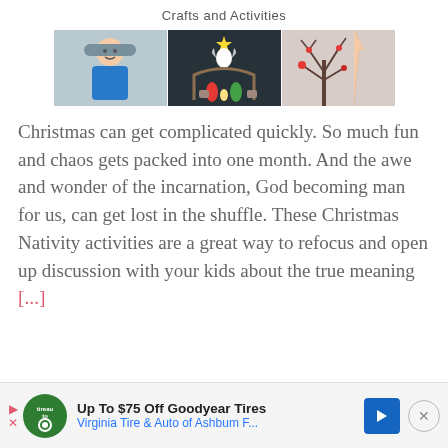Crafts and Activities
[Figure (photo): Three photos showing Christmas nativity crafts: a stuffed doll figure in blue, a felt nativity scene on dark background, and a bare tree decorated with small ornaments.]
Christmas can get complicated quickly. So much fun and chaos gets packed into one month. And the awe and wonder of the incarnation, God becoming man for us, can get lost in the shuffle. These Christmas Nativity activities are a great way to refocus and open up discussion with your kids about the true meaning [...]
Up To $75 Off Goodyear Tires  Virginia Tire & Auto of Ashbum F...